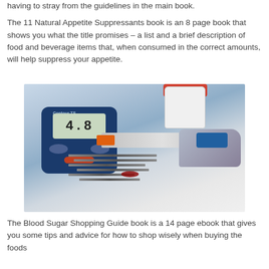The 11 Natural Appetite Suppressants book is an 8 page book that shows you what the title promises – a list and a brief description of food and beverage items that, when consumed in the correct amounts, will help suppress your appetite.
[Figure (photo): A blood glucose meter (Contour TS brand) displaying 4.8, alongside a syringe with orange cap, an overturned white pill bottle, a lancet device, blood glucose test strips, and a small blood drop on a white surface.]
The Blood Sugar Shopping Guide book is a 14 page ebook that gives you some tips and advice for how to shop wisely when buying the foods